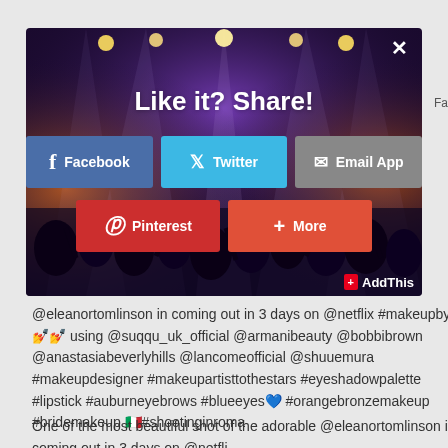@eleanortomlinson in coming out in 3 days on @netflix #makeupbyme using @suqqu_uk_official @armanibeauty @bobbibrown @anastasiabeverlyhills @lancomeofficial @shuuemura #makeupdesigner #makeupartisttothestars #eyeshadowpalette #lipstick #auburneyebrows #blueeyes #orangebronzemake #bridemakeup #shootinginroma
[Figure (screenshot): Social sharing modal overlay on top of a concert background image showing 'Like it? Share!' with Facebook, Twitter, Email App, Pinterest, and More buttons, plus AddThis branding and close X button]
One of the most beautiful shot of the adorable @eleanortomlinson in coming out in 3 days on @netfli...